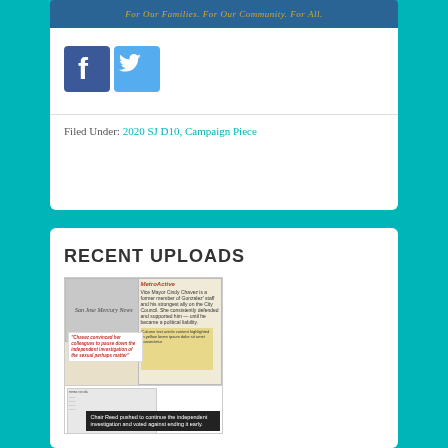[Figure (illustration): Campaign banner: teal background with gold italic text reading 'For Our Families. For Our Community. For All.']
[Figure (illustration): Facebook and Twitter social media icon buttons side by side]
Filed Under: 2020 SJ D10, Campaign Piece
RECENT UPLOADS
[Figure (photo): Collage of newspaper clippings and documents related to Vice Mayor Cindy Chavez. Includes San Jose Mercury News article, MetroActive article, a callout quote about 'Chavez convinced her colleagues to pause down the independent investigation of the sexual perhaps matter', and a dark overlay caption reading 'Chair Reed pushed to continue the independent investigation and voted against ending it early.']